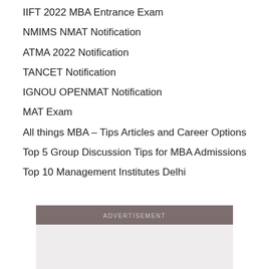IIFT 2022 MBA Entrance Exam
NMIMS NMAT Notification
ATMA 2022 Notification
TANCET Notification
IGNOU OPENMAT Notification
MAT Exam
All things MBA – Tips Articles and Career Options
Top 5 Group Discussion Tips for MBA Admissions
Top 10 Management Institutes Delhi
[Figure (other): Advertisement banner placeholder]